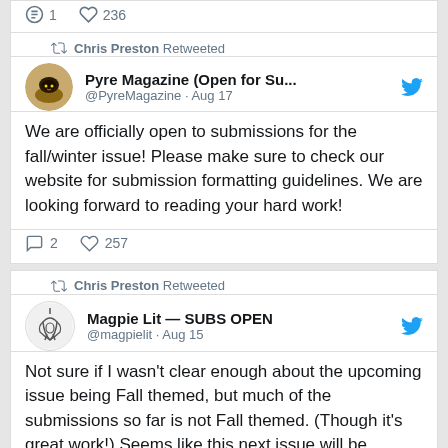[Figure (screenshot): Partial tweet showing like count icons with 1 reply and 236 likes]
Chris Preston Retweeted
Pyre Magazine (Open for Su... @PyreMagazine · Aug 17
We are officially open to submissions for the fall/winter issue! Please make sure to check our website for submission formatting guidelines. We are looking forward to reading your hard work!
2 replies 257 likes
Chris Preston Retweeted
Magpie Lit — SUBS OPEN @magpielit · Aug 15
Not sure if I wasn't clear enough about the upcoming issue being Fall themed, but much of the submissions so far is not Fall themed. (Though it's great work!) Seems like this next issue will be smaller than planned. Please send